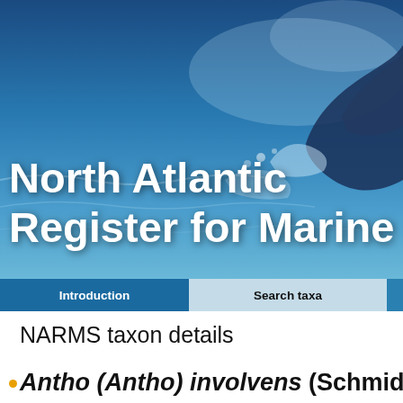[Figure (photo): Banner photo of a whale tail emerging from the North Atlantic ocean, with blue water background]
North Atlantic Register for Marine Species
Introduction | Search taxa
NARMS taxon details
Antho (Antho) involvens (Schmidt, 1...